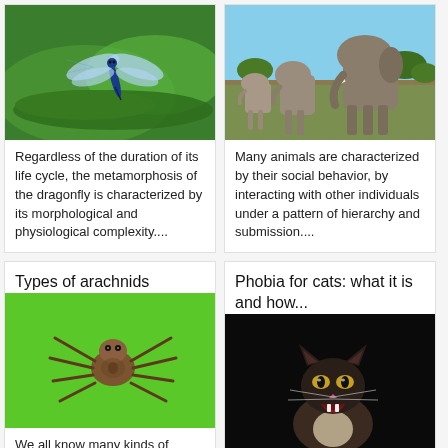[Figure (photo): Close-up photo of a blue dragonfly perched on a green leaf]
Regardless of the duration of its life cycle, the metamorphosis of the dragonfly is characterized by its morphological and physiological complexity....
[Figure (photo): Photo of a herd of elephants walking in a savanna landscape under blue sky]
Many animals are characterized by their social behavior, by interacting with other individuals under a pattern of hierarchy and submission....
Types of arachnids
[Figure (photo): Photo of a brown spider on bright green background]
We all know many kinds of
Phobia for cats: what it is and how...
[Figure (photo): Photo of a dark-colored cat with mouth open hissing against black background]
The phobia of cats, technically